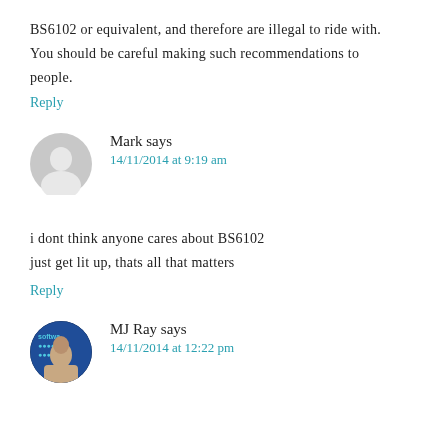BS6102 or equivalent, and therefore are illegal to ride with. You should be careful making such recommendations to people.
Reply
Mark says
14/11/2014 at 9:19 am
i dont think anyone cares about BS6102
just get lit up, thats all that matters
Reply
MJ Ray says
14/11/2014 at 12:22 pm